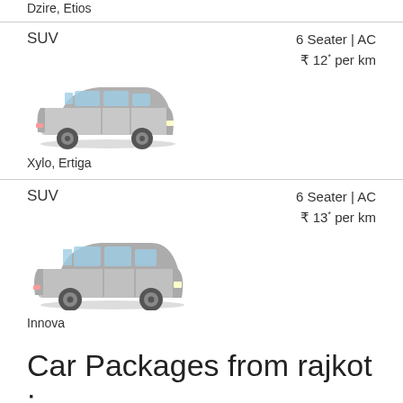Dzire, Etios
SUV
6 Seater | AC
₹ 12* per km
[Figure (photo): Side view of a silver SUV car (Xylo, Ertiga)]
Xylo, Ertiga
SUV
6 Seater | AC
₹ 13* per km
[Figure (photo): Side view of a silver SUV car (Innova)]
Innova
Car Packages from rajkot :
To explore and enjoy your holidays in and around Pune choose our best rajkot Pune cab tour packages where you will get latest travel itineraries